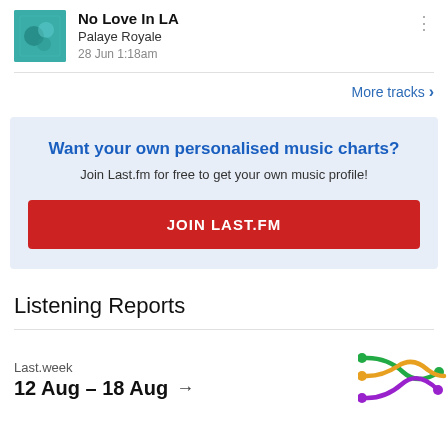[Figure (illustration): Album art thumbnail for No Love In LA by Palaye Royale, teal/blue abstract image]
No Love In LA
Palaye Royale
28 Jun 1:18am
More tracks >
Want your own personalised music charts?
Join Last.fm for free to get your own music profile!
JOIN LAST.FM
Listening Reports
Last.week
12 Aug – 18 Aug →
[Figure (illustration): Decorative squiggle/shuffle icon with green, orange, and purple intertwining lines and dots]